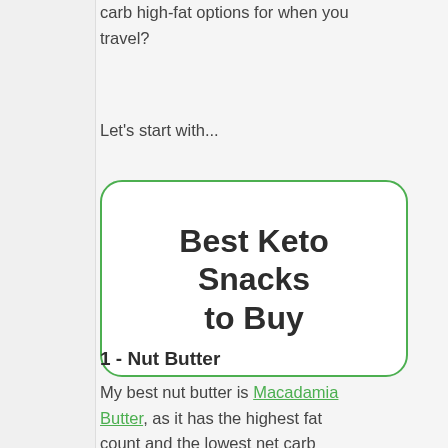carb high-fat options for when you travel?
Let's start with...
Best Keto Snacks to Buy
1 - Nut Butter
My best nut butter is Macadamia Butter, as it has the highest fat count and the lowest net carb